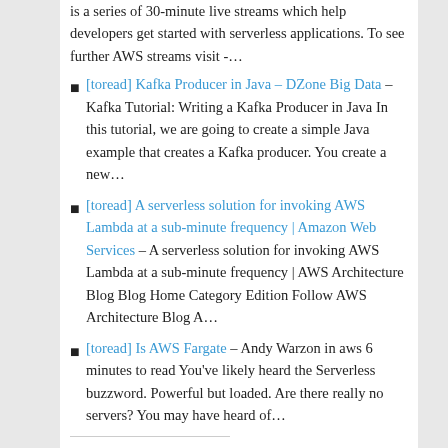is a series of 30-minute live streams which help developers get started with serverless applications. To see further AWS streams visit -…
[toread] Kafka Producer in Java – DZone Big Data – Kafka Tutorial: Writing a Kafka Producer in Java In this tutorial, we are going to create a simple Java example that creates a Kafka producer. You create a new…
[toread] A serverless solution for invoking AWS Lambda at a sub-minute frequency | Amazon Web Services – A serverless solution for invoking AWS Lambda at a sub-minute frequency | AWS Architecture Blog Blog Home Category Edition Follow AWS Architecture Blog A…
[toread] Is AWS Fargate – Andy Warzon in aws 6 minutes to read You've likely heard the Serverless buzzword. Powerful but loaded. Are there really no servers? You may have heard of…
SHARE THIS: